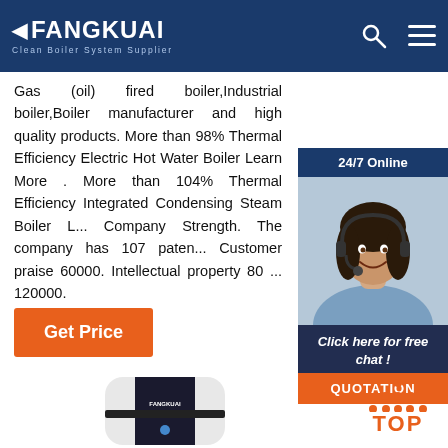[Figure (logo): Fangkuai Clean Boiler System Supplier logo in dark blue header with search and menu icons]
Gas (oil) fired boiler,Industrial boiler,Boiler manufacturer and high quality products. More than 98% Thermal Efficiency Electric Hot Water Boiler Learn More . More than 104% Thermal Efficiency Integrated Condensing Steam Boiler L... Company Strength. The company has 107 paten... Customer praise 60000. Intellectual property 80 ... 120000.
[Figure (infographic): 24/7 Online chat widget with photo of female customer service representative wearing headset, dark blue background, 'Click here for free chat!' text, and orange QUOTATION button]
[Figure (photo): Get Price orange button]
[Figure (photo): Fangkuai branded boiler product in white and dark blue cylindrical design]
[Figure (infographic): Orange TOP button with dots arranged in triangle above text]